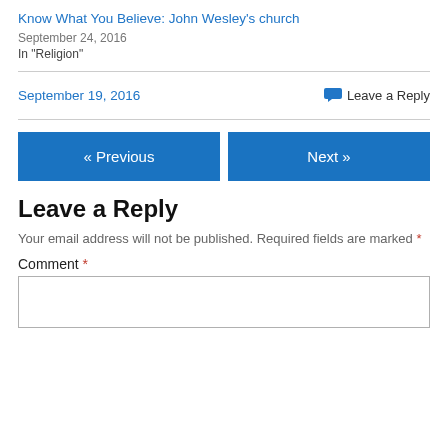Know What You Believe: John Wesley's church
September 24, 2016
In "Religion"
September 19, 2016
Leave a Reply
« Previous
Next »
Leave a Reply
Your email address will not be published. Required fields are marked *
Comment *